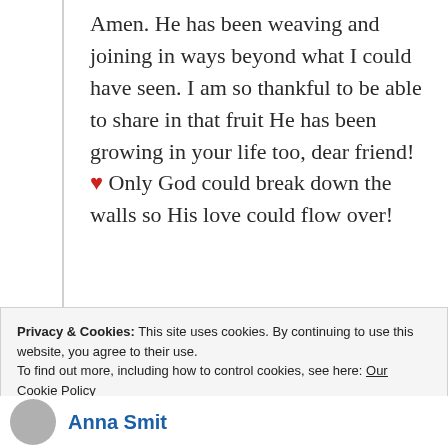Amen. He has been weaving and joining in ways beyond what I could have seen. I am so thankful to be able to share in that fruit He has been growing in your life too, dear friend! ❤ Only God could break down the walls so His love could flow over!
Privacy & Cookies: This site uses cookies. By continuing to use this website, you agree to their use. To find out more, including how to control cookies, see here: Our Cookie Policy
Close and accept
Anna Smit